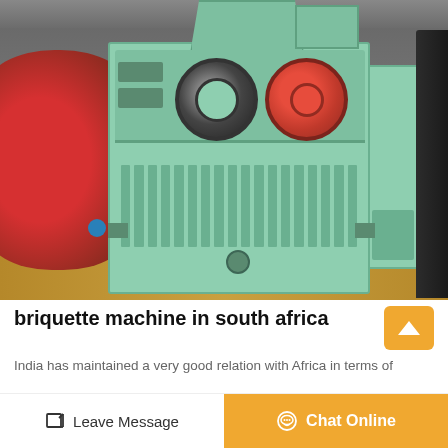[Figure (photo): Industrial briquette machine with light green painted body, a hopper on top, two pulley wheels visible (one black, one red), vertical ribs on lower section. A large red cylindrical drum is visible to the left. Dark machinery is on the right. Industrial warehouse background.]
briquette machine in south africa
India has maintained a very good relation with Africa in terms of
Leave Message
Chat Online